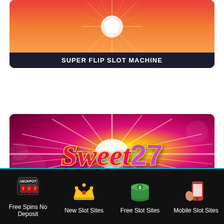[Figure (screenshot): Super Flip Slot Machine game card with orange-red gradient background and starburst light effect]
SUPER FLIP SLOT MACHINE
[Figure (screenshot): Sweet 27 Slot Machine game card with pink-magenta background, starburst center light effect, and Sweet 27 logo in red/pink stylized text]
SWEET 27 SLOT MACHINE
Free Spins No Deposit
New Slot Sites
Free Slot Sites
Mobile Slot Sites